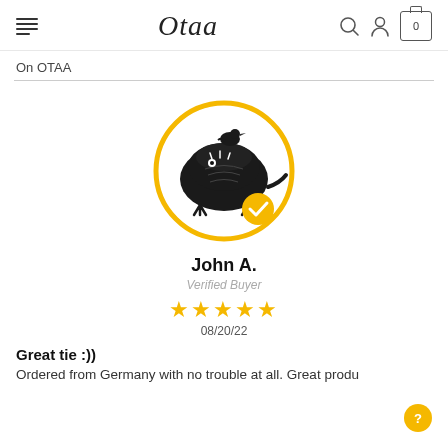Otaa — On OTAA
[Figure (illustration): Circular avatar with a crocodile/alligator illustration wearing a bird on its head, with a gold verified checkmark badge at the bottom right]
John A.
Verified Buyer
★★★★★ 08/20/22
Great tie :))
Ordered from Germany with no trouble at all. Great produ...